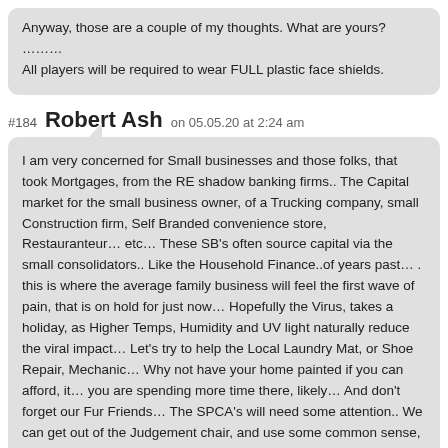Anyway, those are a couple of my thoughts. What are yours?
………
All players will be required to wear FULL plastic face shields.
#184 Robert Ash on 05.05.20 at 2:24 am
I am very concerned for Small businesses and those folks, that took Mortgages, from the RE shadow banking firms.. The Capital market for the small business owner, of a Trucking company, small Construction firm, Self Branded convenience store, Restauranteur… etc… These SB's often source capital via the small consolidators.. Like the Household Finance..of years past… . this is where the average family business will feel the first wave of pain, that is on hold for just now… Hopefully the Virus, takes a holiday, as Higher Temps, Humidity and UV light naturally reduce the viral impact… Let's try to help the Local Laundry Mat, or Shoe Repair, Mechanic… Why not have your home painted if you can afford, it… you are spending more time there, likely… And don't forget our Fur Friends… The SPCA's will need some attention.. We can get out of the Judgement chair, and use some common sense, to help each other… All Goverments, will not be the sole source of a remedy… it is up to us, as Canadians, to help each other… That is a guaranteed return!